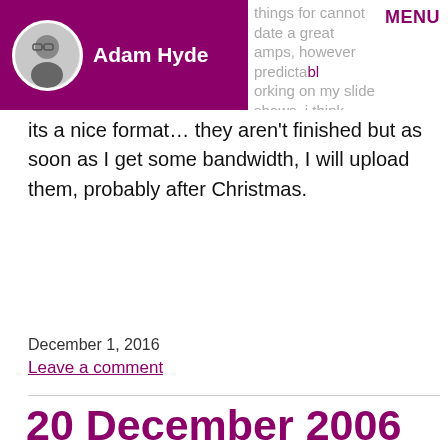Adam Hyde | MENU
its a nice format... they aren't finished but as soon as I get some bandwidth, I will upload them, probably after Christmas.
December 1, 2016
Leave a comment
20 December 2006
I-TASC Antarctic expedition 2006-07 – aboard SA Agulhas